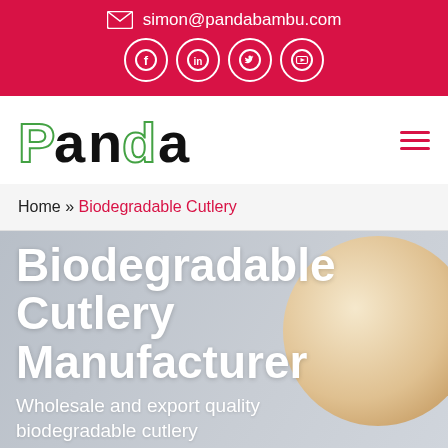simon@pandabambu.com
[Figure (logo): Panda Bambu logo with green outlined P and D letters, black text, with social media icons (Facebook, LinkedIn, Twitter, YouTube) in white circles on red background]
Home » Biodegradable Cutlery
Biodegradable Cutlery Manufacturer
Wholesale and export quality biodegradable cutlery